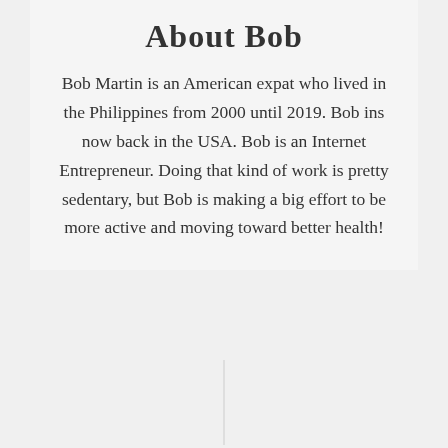About Bob
Bob Martin is an American expat who lived in the Philippines from 2000 until 2019. Bob ins now back in the USA. Bob is an Internet Entrepreneur. Doing that kind of work is pretty sedentary, but Bob is making a big effort to be more active and moving toward better health!